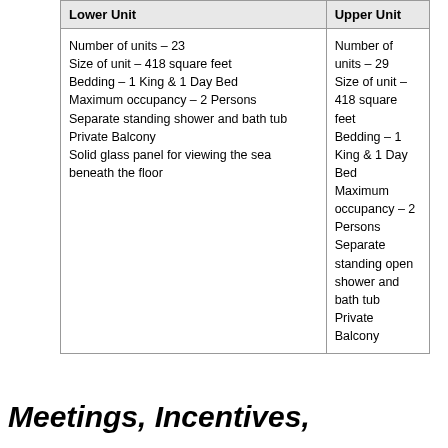| Lower Unit | Upper Unit |
| --- | --- |
| Number of units – 23
Size of unit – 418 square feet
Bedding – 1 King & 1 Day Bed
Maximum occupancy – 2 Persons
Separate standing shower and bath tub
Private Balcony
Solid glass panel for viewing the sea beneath the floor | Number of units – 29
Size of unit – 418 square feet
Bedding – 1 King & 1 Day Bed
Maximum occupancy – 2 Persons
Separate standing open shower and bath tub
Private Balcony |
Meetings, Incentives,